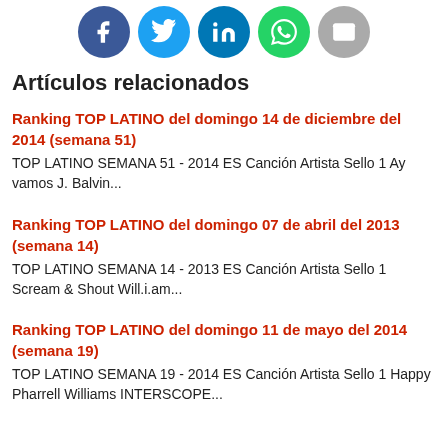[Figure (other): Social media share icons: Facebook, Twitter, LinkedIn, WhatsApp, Email]
Artículos relacionados
Ranking TOP LATINO del domingo 14 de diciembre del 2014 (semana 51)
TOP LATINO SEMANA 51 - 2014 ES Canción Artista Sello 1 Ay vamos J. Balvin...
Ranking TOP LATINO del domingo 07 de abril del 2013 (semana 14)
TOP LATINO SEMANA 14 - 2013 ES Canción Artista Sello 1 Scream & Shout Will.i.am...
Ranking TOP LATINO del domingo 11 de mayo del 2014 (semana 19)
TOP LATINO SEMANA 19 - 2014 ES Canción Artista Sello 1 Happy Pharrell Williams INTERSCOPE...